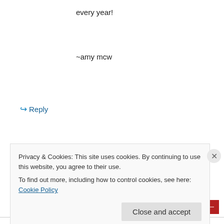every year!
~amy mcw
↳ Reply
Advertisements
[Figure (other): Red banner advertisement with Longreads logo]
nicole on December 2, 2009 at 6:44 am
My sewing machine!
Privacy & Cookies: This site uses cookies. By continuing to use this website, you agree to their use.
To find out more, including how to control cookies, see here: Cookie Policy
Close and accept